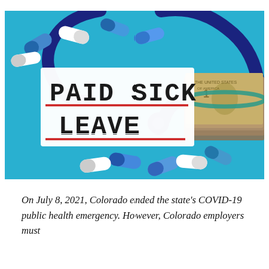[Figure (photo): Photo of a light blue background with a white card that reads 'PAID SICK LEAVE' in handwritten black capital letters with red underlines beneath each line. Surrounding the card are blue and white capsule pills, a dark blue stethoscope, and a stack of US dollar bills wrapped with a teal rubber band.]
On July 8, 2021, Colorado ended the state's COVID-19 public health emergency. However, Colorado employers must